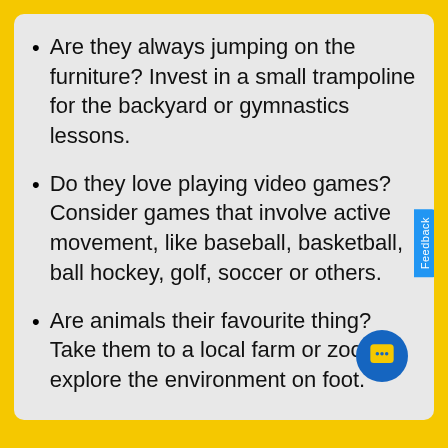Are they always jumping on the furniture? Invest in a small trampoline for the backyard or gymnastics lessons.
Do they love playing video games? Consider games that involve active movement, like baseball, basketball, ball hockey, golf, soccer or others.
Are animals their favourite thing? Take them to a local farm or zoo to explore the environment on foot.